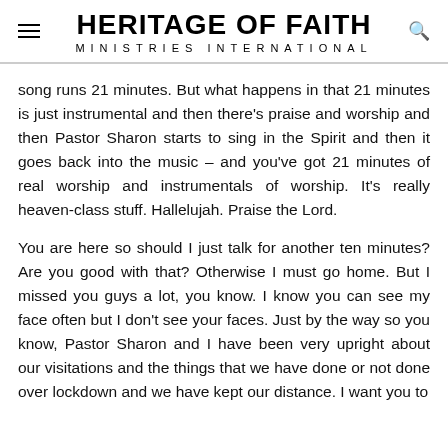HERITAGE OF FAITH MINISTRIES INTERNATIONAL
song runs 21 minutes. But what happens in that 21 minutes is just instrumental and then there's praise and worship and then Pastor Sharon starts to sing in the Spirit and then it goes back into the music – and you've got 21 minutes of real worship and instrumentals of worship. It's really heaven-class stuff. Hallelujah. Praise the Lord.
You are here so should I just talk for another ten minutes? Are you good with that? Otherwise I must go home. But I missed you guys a lot, you know. I know you can see my face often but I don't see your faces. Just by the way so you know, Pastor Sharon and I have been very upright about our visitations and the things that we have done or not done over lockdown and we have kept our distance. I want you to